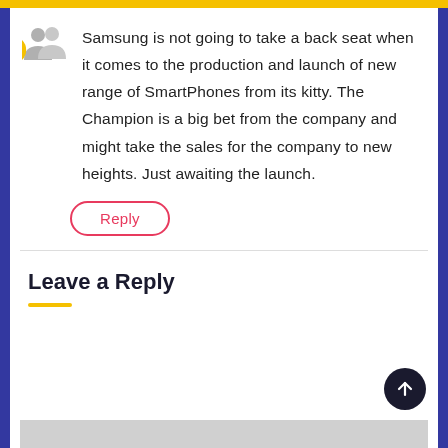Samsung is not going to take a back seat when it comes to the production and launch of new range of SmartPhones from its kitty. The Champion is a big bet from the company and might take the sales for the company to new heights. Just awaiting the launch.
Reply
Leave a Reply